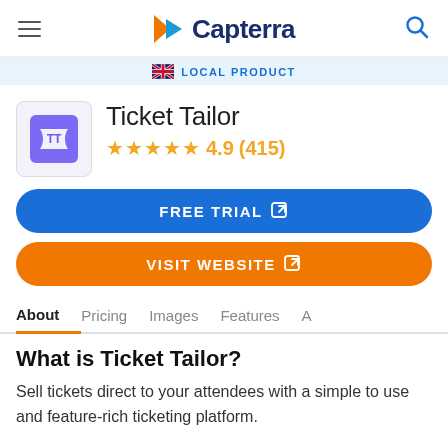Capterra
LOCAL PRODUCT
Ticket Tailor
4.9 (415)
FREE TRIAL
VISIT WEBSITE
About   Pricing   Images   Features   A
What is Ticket Tailor?
Sell tickets direct to your attendees with a simple to use and feature-rich ticketing platform.